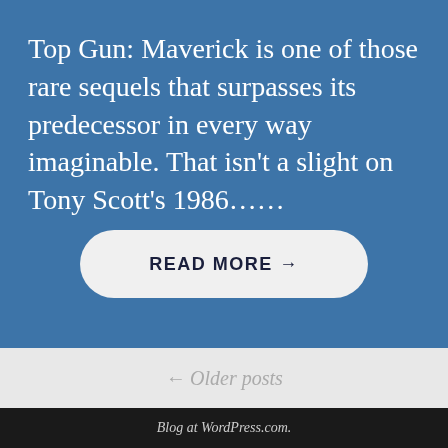Top Gun: Maverick is one of those rare sequels that surpasses its predecessor in every way imaginable. That isn't a slight on Tony Scott's 1986......
READ MORE →
← Older posts
Blog at WordPress.com.